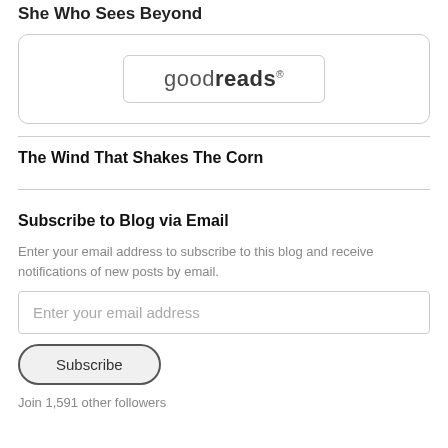She Who Sees Beyond
[Figure (logo): Goodreads logo inside a rounded rectangle border box]
The Wind That Shakes The Corn
Subscribe to Blog via Email
Enter your email address to subscribe to this blog and receive notifications of new posts by email.
Enter your email address
Subscribe
Join 1,591 other followers